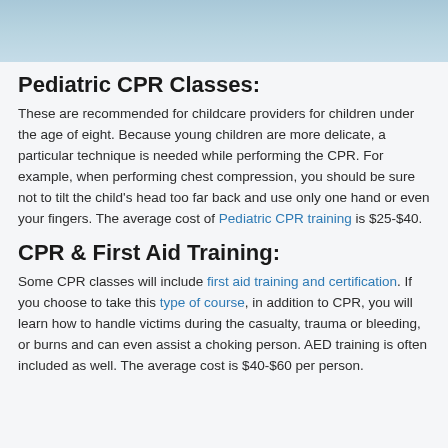[Figure (photo): Partial photo strip at top of page showing a child or medical scene with blue tones]
Pediatric CPR Classes:
These are recommended for childcare providers for children under the age of eight. Because young children are more delicate, a particular technique is needed while performing the CPR. For example, when performing chest compression, you should be sure not to tilt the child's head too far back and use only one hand or even your fingers. The average cost of Pediatric CPR training is $25-$40.
CPR & First Aid Training:
Some CPR classes will include first aid training and certification. If you choose to take this type of course, in addition to CPR, you will learn how to handle victims during the casualty, trauma or bleeding, or burns and can even assist a choking person. AED training is often included as well. The average cost is $40-$60 per person.